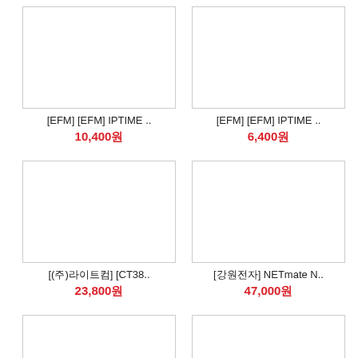[Figure (photo): Product image placeholder top-left]
[EFM] [EFM] IPTIME ..
10,400원
[Figure (photo): Product image placeholder top-right]
[EFM] [EFM] IPTIME ..
6,400원
[Figure (photo): Product image placeholder middle-left]
[(주)라이트컴] [CT38..
23,800원
[Figure (photo): Product image placeholder middle-right]
[강원전자] NETmate N..
47,000원
[Figure (photo): Product image placeholder bottom-left]
[강원전자] NETmate N..
[Figure (photo): Product image placeholder bottom-right]
[주)이카네유비쿼디시